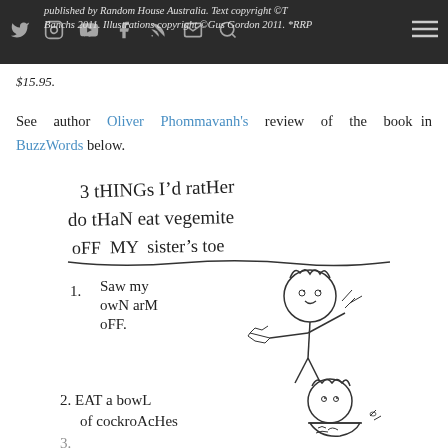published by Random House Australia. Text copyright © Tom Banchs 2011. Illustrations copyright © Gus Gordon 2011. *RRP $15.95.
See author Oliver Phommavanh's review of the book in BuzzWords below.
[Figure (illustration): Hand-drawn illustration showing a list titled '3 things I'd rather do than eat vegemite off my sister's toe' with item 1: Saw my own arm off (shown with cartoon character sawing arm) and item 2: Eat a bowl of cockroaches (shown with cartoon character eating from bowl). Item 3 partially visible at bottom.]